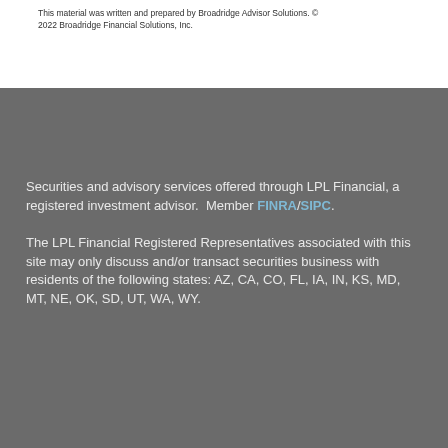This material was written and prepared by Broadridge Advisor Solutions. © 2022 Broadridge Financial Solutions, Inc.
Securities and advisory services offered through LPL Financial, a registered investment advisor. Member FINRA/SIPC.
The LPL Financial Registered Representatives associated with this site may only discuss and/or transact securities business with residents of the following states: AZ, CA, CO, FL, IA, IN, KS, MD, MT, NE, OK, SD, UT, WA, WY.